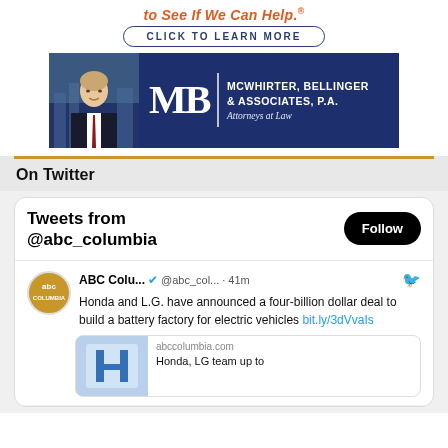[Figure (illustration): Advertisement banner: orange italic text 'to See If We Can Help.®', a 'CLICK TO LEARN MORE' button, and a law firm advertisement for McWhirter, Bellinger & Associates, P.A. Attorneys at Law with photo of attorney and navy blue background]
On Twitter
[Figure (screenshot): Twitter widget showing 'Tweets from @abc_columbia' header with Follow button, and a tweet from ABC Colu... @abc_col... · 41m: 'Honda and L.G. have announced a four-billion dollar deal to build a battery factory for electric vehicles bit.ly/3dVvaIs', with a link preview card showing abccolumbia.com and 'Honda, LG team up to']